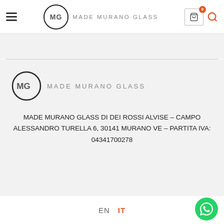Made Murano Glass – navigation header with hamburger menu, logo, cart icon with badge 0, and search icon
[Figure (logo): Made Murano Glass logo: circle with MG monogram and text MADE MURANO GLASS]
MADE MURANO GLASS DI DEI ROSSI ALVISE – CAMPO ALESSANDRO TURELLA 6, 30141 MURANO VE – PARTITA IVA: 04341700278
EN  IT